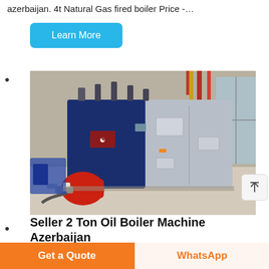azerbaijan. 4t Natural Gas fired boiler Price -…
Learn More
•
[Figure (photo): Industrial natural gas/oil fired steam boiler, large blue and silver rectangular unit with red burner at front, photographed in an industrial building/warehouse setting.]
•
Seller 2 Ton Oil Boiler Machine Azerbaijan
10 Ton Coal Fired Boiler Machine Dealer Ukraine.
Get a Quote | WhatsApp